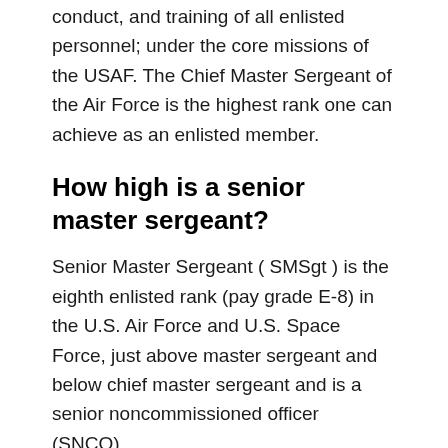conduct, and training of all enlisted personnel; under the core missions of the USAF. The Chief Master Sergeant of the Air Force is the highest rank one can achieve as an enlisted member.
How high is a senior master sergeant?
Senior Master Sergeant ( SMSgt ) is the eighth enlisted rank (pay grade E-8) in the U.S. Air Force and U.S. Space Force, just above master sergeant and below chief master sergeant and is a senior noncommissioned officer (SNCO).
How many stripes does a